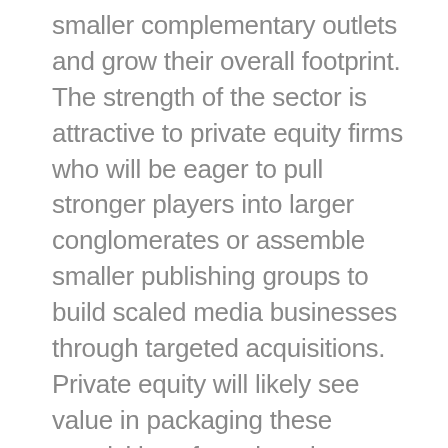smaller complementary outlets and grow their overall footprint. The strength of the sector is attractive to private equity firms who will be eager to pull stronger players into larger conglomerates or assemble smaller publishing groups to build scaled media businesses through targeted acquisitions. Private equity will likely see value in packaging these acquisitions for sale to larger funds and conglomerates or operating them independently. It's also possible that some of the strongest players in B2B media may use this opportunity to follow in the footsteps of a growing number of consumer-facing publishers like Group Nine Media and take themselves public via Special Purpose Acquisition Company